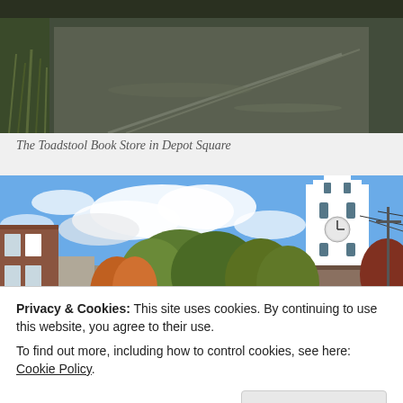[Figure (photo): Top partial photo showing what appears to be a road or pavement surface with grass/reeds visible at the left edge, partially cropped.]
The Toadstool Book Store in Depot Square
[Figure (photo): Outdoor street scene photograph showing brick buildings on the left, autumn-colored trees in the middle, a white church steeple/bell tower on the upper right, blue sky with clouds, and power lines.]
Privacy & Cookies: This site uses cookies. By continuing to use this website, you agree to their use.
To find out more, including how to control cookies, see here: Cookie Policy
[Figure (photo): Bottom partial photo peeking at the bottom edge — partially visible, appears dark.]